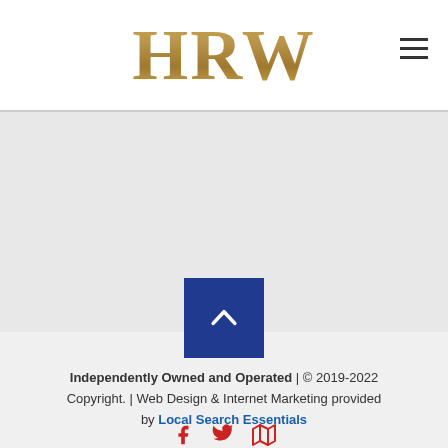HRW
[Figure (other): Back to top button — blue square with white chevron/caret pointing upward]
Independently Owned and Operated | © 2019-2022 Copyright. | Web Design & Internet Marketing provided by Local Search Essentials
[Figure (other): Social media icons: Facebook, Twitter, Map/location icon in red/crimson color]